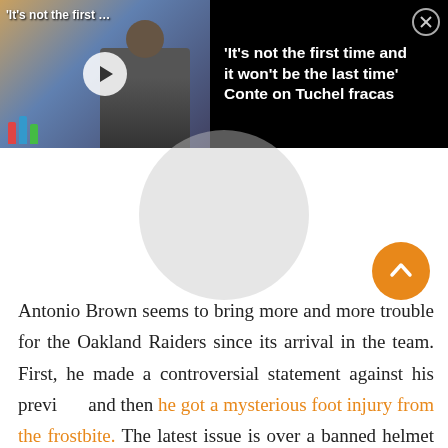[Figure (screenshot): Video card showing a person at a press conference with microphones. Title reads: 'It's not the first time and it won't be the last time' Conte on Tuchel fracas. With a play button and close (X) button.]
Antonio Brown seems to bring more and more trouble for the Oakland Raiders since its arrival in the team. First, he made a controversial statement against his previous and then he got a mysterious foot injury from the frostbite. The latest issue is over a banned helmet which has made Brown lose his mind. NFL safety committees have banned